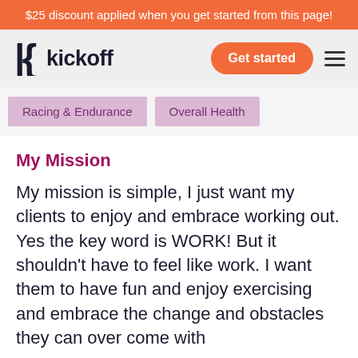$25 discount applied when you get started from this page!
[Figure (logo): Kickoff logo with stylized K icon and wordmark 'kickoff' in dark text]
Racing & Endurance
Overall Health
My Mission
My mission is simple, I just want my clients to enjoy and embrace working out. Yes the key word is WORK! But it shouldn't have to feel like work. I want them to have fun and enjoy exercising and embrace the change and obstacles they can over come with